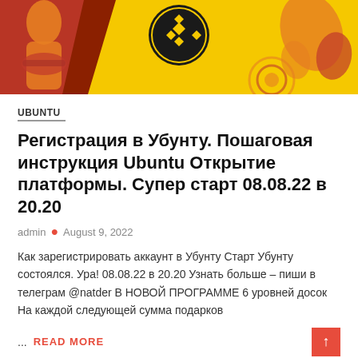[Figure (illustration): Yellow banner with red/orange decorative figures on the left, a Binance logo circle in the center top, and orange leaf shapes on the right]
UBUNTU
Регистрация в Убунту. Пошаговая инструкция Ubuntu Открытие платформы. Супер старт 08.08.22 в 20.20
admin • August 9, 2022
Как зарегистрировать аккаунт в Убунту Старт Убунту состоялся. Ура! 08.08.22 в 20.20 Узнать больше – пиши в телеграм @natder В НОВОЙ ПРОГРАММЕ 6 уровней досок На каждой следующей сумма подарков
... READ MORE
#зароботоквинтернете • legacy • startubunty •